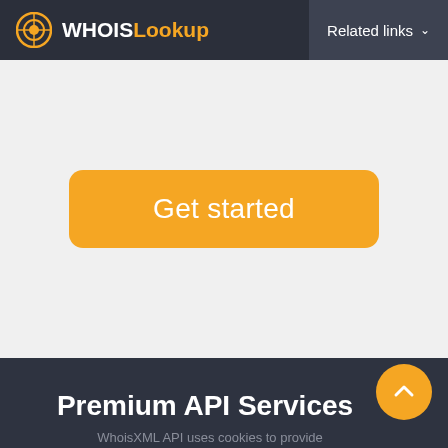WHOIS Lookup  Related links
[Figure (screenshot): Get started button — orange rounded rectangle with white text 'Get started' on light grey background]
Premium API Services
WhoisXML API uses cookies to provide